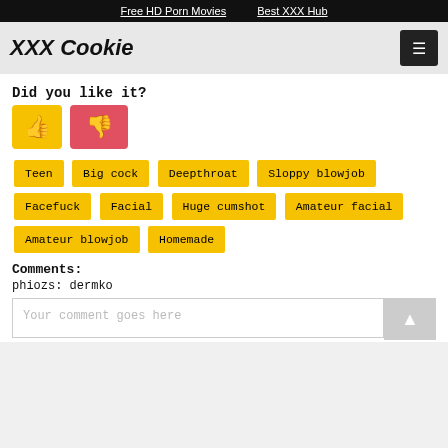Free HD Porn Movies   Best XXX Hub
XXX Cookie
Did you like it?
Teen | Big cock | Deepthroat | Sloppy blowjob | Facefuck | Facial | Huge cumshot | Amateur facial | Amateur blowjob | Homemade
Comments:
phiozs: dermko
Your comment goes here